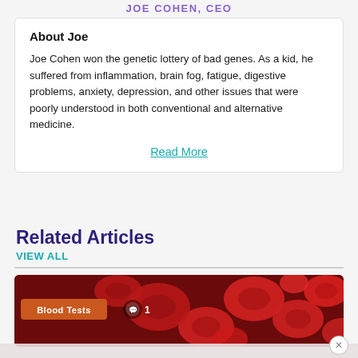JOE COHEN, CEO
About Joe
Joe Cohen won the genetic lottery of bad genes. As a kid, he suffered from inflammation, brain fog, fatigue, digestive problems, anxiety, depression, and other issues that were poorly understood in both conventional and alternative medicine.
Read More
Related Articles
VIEW ALL
[Figure (photo): Close-up photo of red blood cells (erythrocytes) with dark red background. Overlaid badge reads 'Blood Tests' in orange, and a comment icon with '1'.]